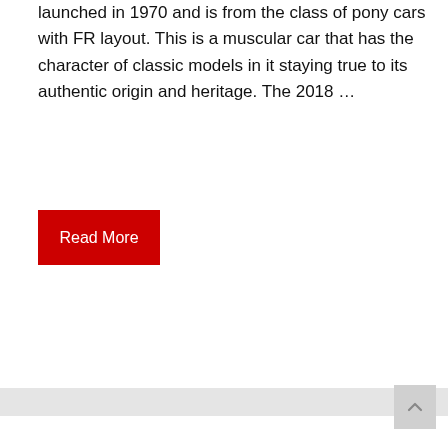launched in 1970 and is from the class of pony cars with FR layout. This is a muscular car that has the character of classic models in it staying true to its authentic origin and heritage. The 2018 ...
Read More